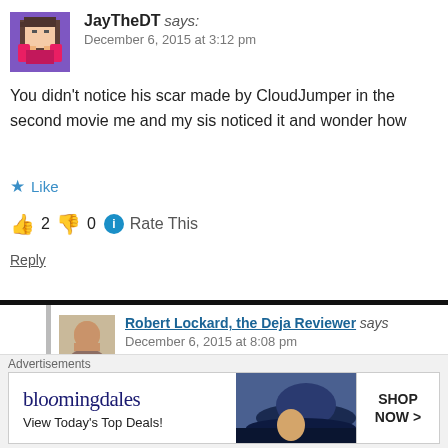JayTheDT says:
December 6, 2015 at 3:12 pm
You didn't notice his scar made by CloudJumper in the second movie me and my sis noticed it and wonder how
★ Like
👍 2  👎 0  ℹ Rate This
Reply
Robert Lockard, the Deja Reviewer says
December 6, 2015 at 8:08 pm
Yeah, that detail definitely slipped by my n
Advertisements
bloomingdales — View Today's Top Deals! — SHOP NOW >